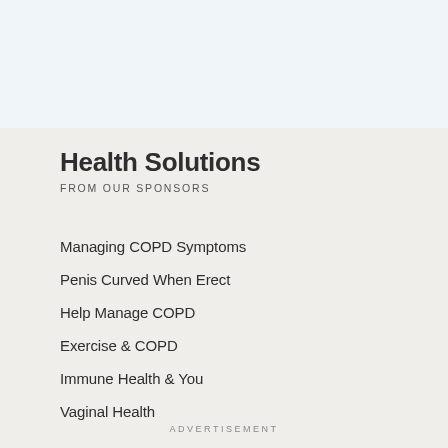Health Solutions
FROM OUR SPONSORS
Managing COPD Symptoms
Penis Curved When Erect
Help Manage COPD
Exercise & COPD
Immune Health & You
Vaginal Health
ADVERTISEMENT